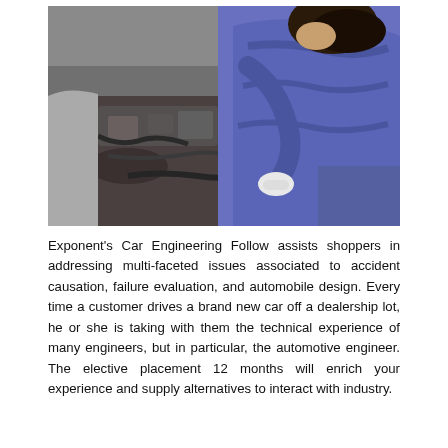[Figure (photo): A mechanic in a blue shirt leaning over a car engine bay, wearing white gloves and working on the engine components. The hood is open and various engine parts are visible.]
Exponent's Car Engineering Follow assists shoppers in addressing multi-faceted issues associated to accident causation, failure evaluation, and automobile design. Every time a customer drives a brand new car off a dealership lot, he or she is taking with them the technical experience of many engineers, but in particular, the automotive engineer. The elective placement 12 months will enrich your experience and supply alternatives to interact with industry.